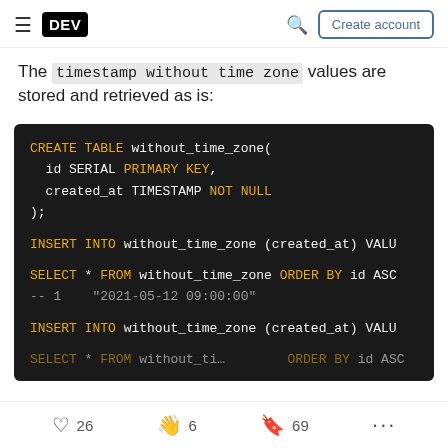DEV | Create account
The timestamp without time zone values are stored and retrieved as is:
[Figure (screenshot): Dark-themed SQL code block showing CREATE TABLE, INSERT INTO, and SELECT statements for without_time_zone table with SQL keywords highlighted in yellow/orange]
26 likes | 6 reactions | 69 bookmarks | more options